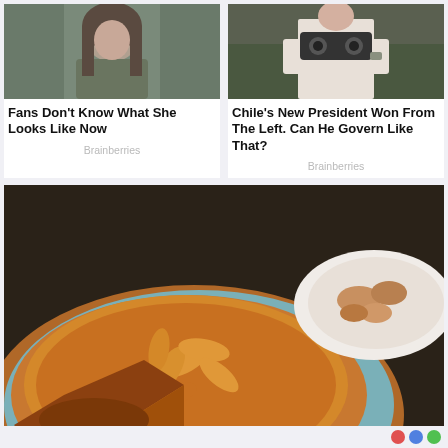[Figure (photo): Woman with long hair looking down, outdoors]
Fans Don't Know What She Looks Like Now
Brainberries
[Figure (photo): Person holding camera/binoculars outdoors]
Chile's New President Won From The Left. Can He Govern Like That?
Brainberries
[Figure (photo): Close-up of a golden-brown baked pie with decorative leaf crust, partially sliced, on a blue ceramic dish. A second plate with cooked mushrooms visible in background.]